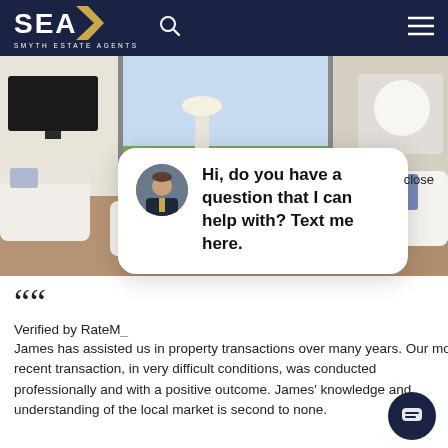SEA SMYTH ESTATE AGENTS
[Figure (photo): Interior photo of a bright living room with white sofas, blue cushions, hardwood floors, and open bifold doors leading to a garden deck]
close
[Figure (other): Chat popup with agent avatar photo and message: Hi, do you have a question that I can help with? Text me here.]
““
Verified by RateM...
James has assisted us in property transactions over many years. Our most recent transaction, in very difficult conditions, was conducted professionally and with a positive outcome. James' knowledge and understanding of the local market is second to none.